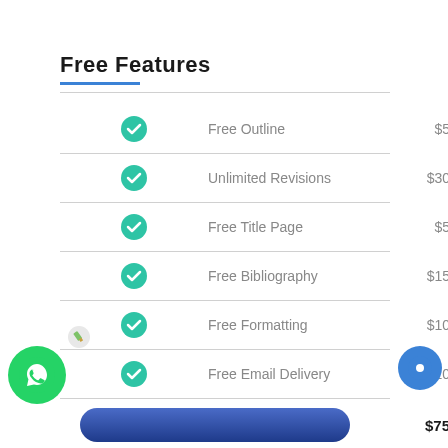Free Features
| Feature | Value |
| --- | --- |
| Free Outline | $5 |
| Unlimited Revisions | $30 |
| Free Title Page | $5 |
| Free Bibliography | $15 |
| Free Formatting | $10 |
| Free Email Delivery | $10 |
| Total Savings | $75 |